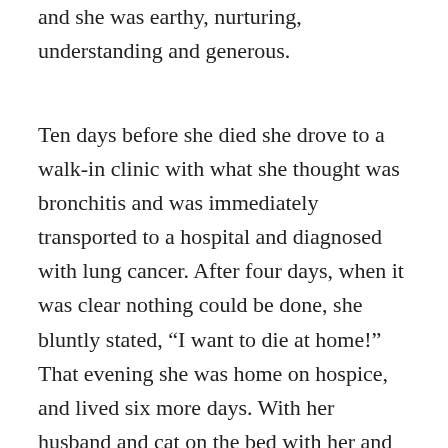and she was earthy, nurturing, understanding and generous.
Ten days before she died she drove to a walk-in clinic with what she thought was bronchitis and was immediately transported to a hospital and diagnosed with lung cancer. After four days, when it was clear nothing could be done, she bluntly stated, “I want to die at home!” That evening she was home on hospice, and lived six more days. With her husband and cat on the bed with her and with her four surviving children and a close friend holding her hands, she breathed her last. She once had had a near-death experience and saw the proverbial light at the end of the